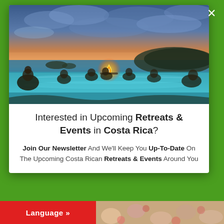[Figure (photo): Infinity pool at sunset overlooking ocean with small islands in background. People sitting in the pool around a table with a fire/flame centerpiece. Dramatic sky with clouds lit orange-pink at horizon.]
Interested in Upcoming Retreats & Events in Costa Rica?
Join Our Newsletter And We'll Keep You Up-To-Date On The Upcoming Costa Rican Retreats & Events Around You